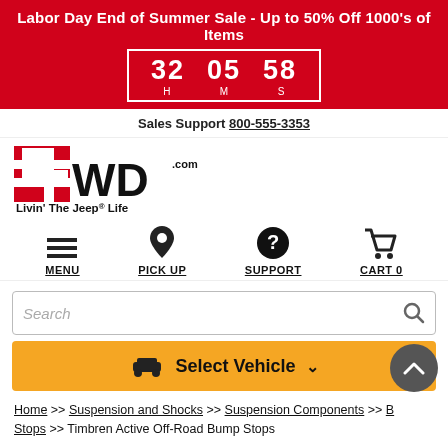Labor Day End of Summer Sale - Up to 50% Off 1000's of Items
32 H  05 M  58 S (countdown timer)
Sales Support 800-555-3353
[Figure (logo): 4WD.com logo with red and white graphic and text 'Livin' The Jeep Life']
MENU  PICK UP  SUPPORT  CART 0
Search
Select Vehicle
Home >> Suspension and Shocks >> Suspension Components >> Bump Stops >> Timbren Active Off-Road Bump Stops